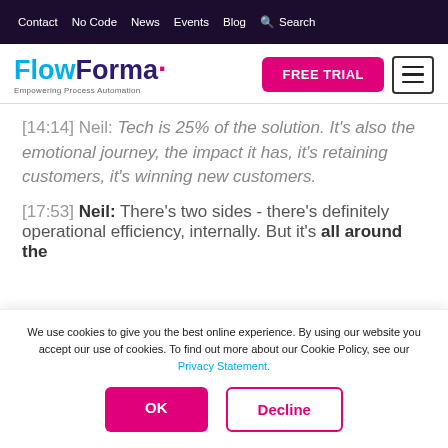Contact  No Code  News  Events  Blog  Search
[Figure (logo): FlowForma logo with tagline 'Empowering Process Automation']
[14:14] Neil: Tech is 25% of the solution. It's also the emotional journey, the impact it has, it's retaining customers, it's winning new customers.
[17:53] Neil: There's two sides - there's definitely operational efficiency, internally. But it's all around the
We use cookies to give you the best online experience. By using our website you accept our use of cookies. To find out more about our Cookie Policy, see our Privacy Statement.